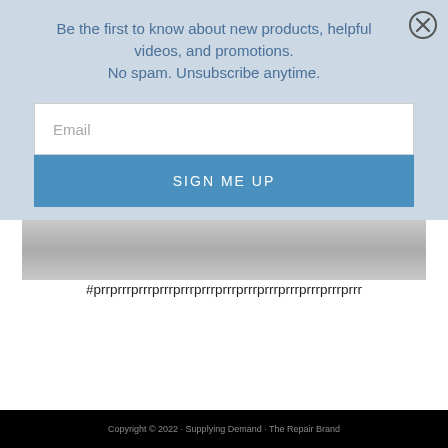Be the first to know about new products, helpful videos, and promotions.
No spam. Unsubscribe anytime.
[Figure (screenshot): Email signup modal with a light blue background, email input field, and a blue 'SIGN ME UP' button. A close (X) button is in the top right corner.]
#prrprrrprrrprrrprrrprrrprrrprrrprrrprrrprrrprrrprrr
Copyright © 2022 · Supplying Demand · The Repair Brand